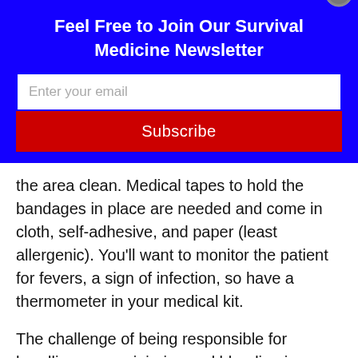Feel Free to Join Our Survival Medicine Newsletter
[Figure (other): Email subscription form with text input field labeled 'Enter your email' and a red Subscribe button]
the area clean. Medical tapes to hold the bandages in place are needed and come in cloth, self-adhesive, and paper (least allergenic). You'll want to monitor the patient for fevers, a sign of infection, so have a thermometer in your medical kit.
The challenge of being responsible for handling severe injuries and bleeding is daunting, even to some medical professionals. Some training, supplies, and a level head will give you the best